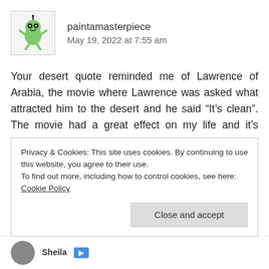[Figure (illustration): Avatar image of a cartoon green alien character (paintamasterpiece user avatar)]
paintamasterpiece
May 19, 2022 at 7:55 am
Your desert quote reminded me of Lawrence of Arabia, the movie where Lawrence was asked what attracted him to the desert and he said “It’s clean”. The movie had a great effect on my life and it’s possible that quote is partly to do with my need for organization. I can’t work unless the area is tidy. I can find no reference that TE Lawrence actually said or wrote those words, I think it’s just amazing scripting. But when I think of the desert, I think of that
Privacy & Cookies: This site uses cookies. By continuing to use this website, you agree to their use.
To find out more, including how to control cookies, see here: Cookie Policy
Close and accept
Sheila
May 19, 2022 at 12:11